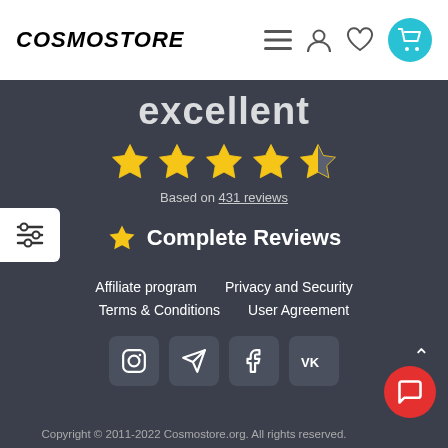COSMOSTORE
excellent
[Figure (other): 4.5 star rating shown as 4 full gold stars and 1 half gold star]
Based on 431 reviews
Complete Reviews
Affiliate program   Privacy and Security   Terms & Conditions   User Agreement
[Figure (other): Social media icons: Instagram, Telegram, Facebook, VK]
Copyright © 2011-2022 Cosmostore.org. All rights reserved.